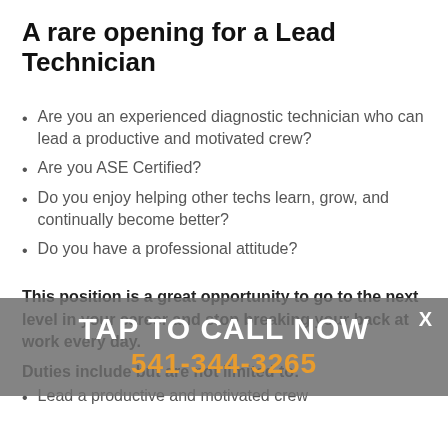A rare opening for a Lead Technician
Are you an experienced diagnostic technician who can lead a productive and motivated crew?
Are you ASE Certified?
Do you enjoy helping other techs learn, grow, and continually become better?
Do you have a professional attitude?
This position is a great opportunity to go to the next level in your career and stop breaking your back at work every day.
Duties include but are not limited to:
Lead a productive and motivated crew
[Figure (other): TAP TO CALL NOW overlay banner with phone number 541-344-3265]